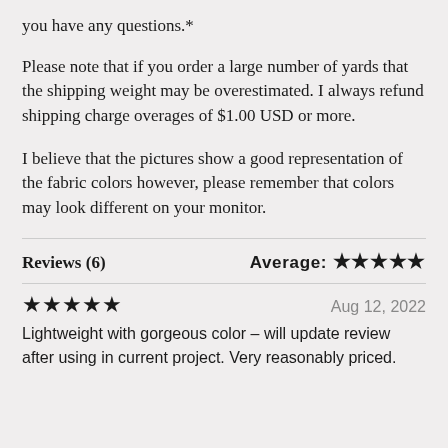you have any questions.*
Please note that if you order a large number of yards that the shipping weight may be overestimated. I always refund shipping charge overages of $1.00 USD or more.
I believe that the pictures show a good representation of the fabric colors however, please remember that colors may look different on your monitor.
Reviews (6)    Average: ★★★★★
★★★★★    Aug 12, 2022
Lightweight with gorgeous color – will update review after using in current project. Very reasonably priced.